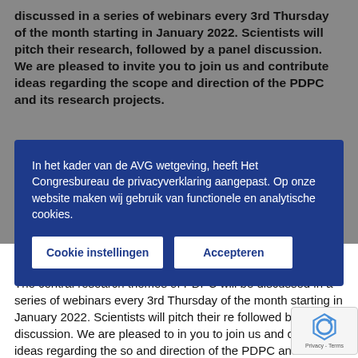discussed in a series of webinars every 3rd Thursday of the month starting in January 2022. Scientists will pitch their research, followed by a panel discussion. We are pleased to invite you to join us and contribute ideas regarding the scope and direction of the PDPC and its research projects.
In het kader van de AVG wetgeving, heeft Het Congresbureau de privacyverklaring aangepast. Op onze website maken wij gebruik van functionele en analytische cookies.
pandemics of the future.
The central research themes of PDPC will be discussed in a series of webinars every 3rd Thursday of the month starting in January 2022. Scientists will pitch their re followed by a panel discussion. We are pleased to in you to join us and contribute ideas regarding the so and direction of the PDPC and its research projects.